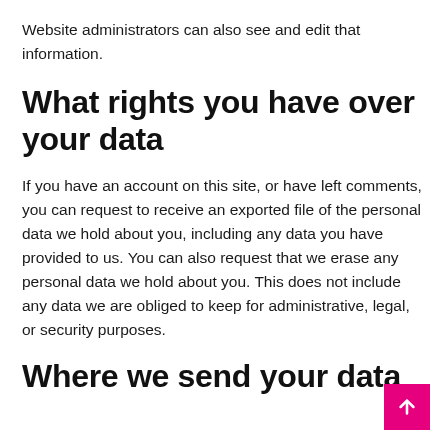Website administrators can also see and edit that information.
What rights you have over your data
If you have an account on this site, or have left comments, you can request to receive an exported file of the personal data we hold about you, including any data you have provided to us. You can also request that we erase any personal data we hold about you. This does not include any data we are obliged to keep for administrative, legal, or security purposes.
Where we send your data